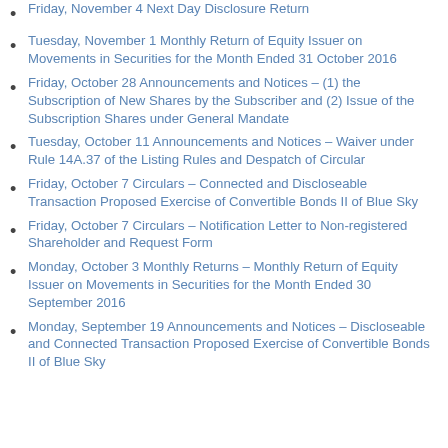Friday, November 4 Next Day Disclosure Return
Tuesday, November 1 Monthly Return of Equity Issuer on Movements in Securities for the Month Ended 31 October 2016
Friday, October 28 Announcements and Notices – (1) the Subscription of New Shares by the Subscriber and (2) Issue of the Subscription Shares under General Mandate
Tuesday, October 11 Announcements and Notices – Waiver under Rule 14A.37 of the Listing Rules and Despatch of Circular
Friday, October 7 Circulars – Connected and Discloseable Transaction Proposed Exercise of Convertible Bonds II of Blue Sky
Friday, October 7 Circulars – Notification Letter to Non-registered Shareholder and Request Form
Monday, October 3 Monthly Returns – Monthly Return of Equity Issuer on Movements in Securities for the Month Ended 30 September 2016
Monday, September 19 Announcements and Notices – Discloseable and Connected Transaction Proposed Exercise of Convertible Bonds II of Blue Sky